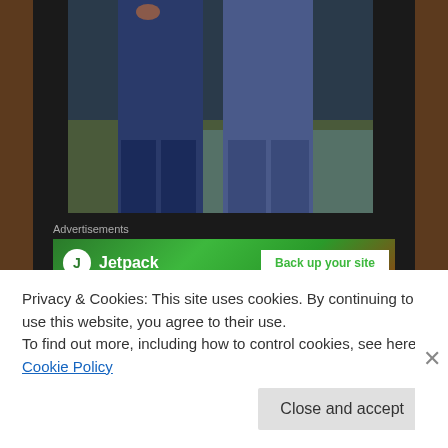[Figure (photo): Two people standing near water, showing from waist down wearing jeans]
Advertisements
[Figure (screenshot): Jetpack advertisement banner with 'Back up your site' button]
J J Leto is the best busker I have ever seen and definitely one of my favourite things. The second we saw him we
Privacy & Cookies: This site uses cookies. By continuing to use this website, you agree to their use.
To find out more, including how to control cookies, see here: Cookie Policy
Close and accept